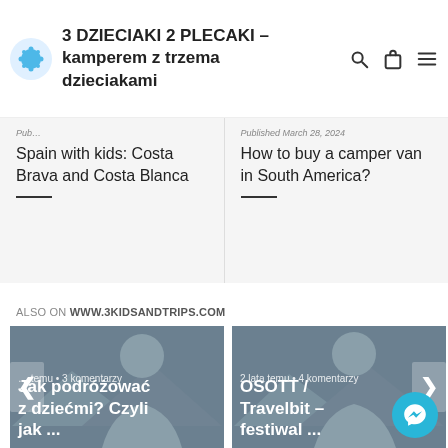3 DZIECIAKI 2 PLECAKI – kamperem z trzema dzieciakami
Spain with kids: Costa Brava and Costa Blanca
Published March 28, 2024
How to buy a camper van in South America?
ALSO ON WWW.3KIDSANDTRIPS.COM
[Figure (screenshot): Carousel card with silhouette background. Text: '… temu • 3 komentarzy' and 'Jak podróżować z dziećmi? Czyli jak ...']
[Figure (screenshot): Carousel card with silhouette background. Text: '2 lata temu • 4 komentarzy' and 'OSOTT / Travelbit – festiwal ...']